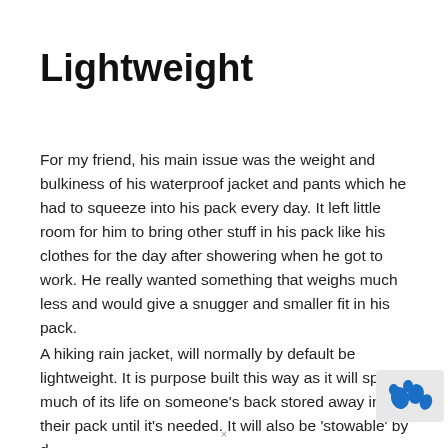Lightweight
For my friend, his main issue was the weight and bulkiness of his waterproof jacket and pants which he had to squeeze into his pack every day. It left little room for him to bring other stuff in his pack like his clothes for the day after showering when he got to work. He really wanted something that weighs much less and would give a snugger and smaller fit in his pack.
A hiking rain jacket, will normally by default be lightweight. It is purpose built this way as it will spend much of its life on someone’s back stored away in their pack until it’s needed. It will also be ‘stowable’ by d
[Figure (logo): Blue animal/paw logo icon on light grey background in bottom right corner]